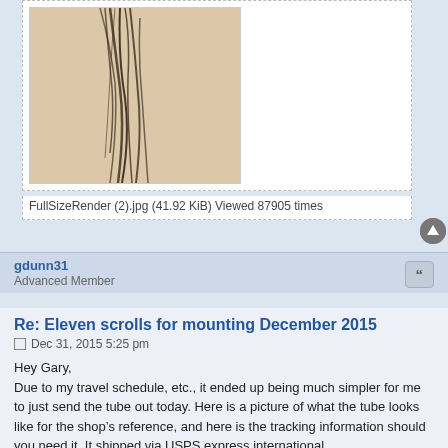[Figure (photo): A partial photo showing what appears to be hair or thin dark lines/strands on a light beige/skin-toned background, cropped at the bottom of the visible area.]
FullSizeRender (2).jpg (41.92 KiB) Viewed 87905 times
gdunn31
Advanced Member
Re: Eleven scrolls for mounting December 2015
Dec 31, 2015 5:25 pm
Hey Gary,
Due to my travel schedule, etc., it ended up being much simpler for me to just send the tube out today. Here is a picture of what the tube looks like for the shop's reference, and here is the tracking information should you need it. It shipped via USPS express international.

Label Number:
EC904066982US